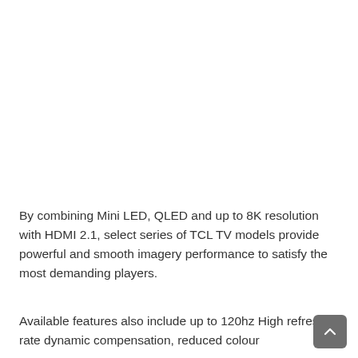By combining Mini LED, QLED and up to 8K resolution with HDMI 2.1, select series of TCL TV models provide powerful and smooth imagery performance to satisfy the most demanding players.
Available features also include up to 120hz High refresh rate dynamic compensation, reduced colour